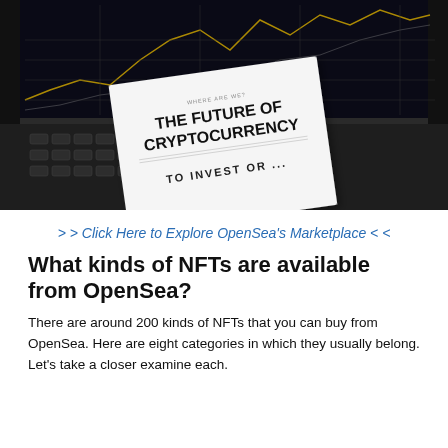[Figure (photo): Photo of a laptop showing a cryptocurrency trading chart on screen, with a white document/paper placed on top of the keyboard reading 'WHERE ARE WE? THE FUTURE OF CRYPTOCURRENCY' and below 'TO INVEST OR...']
> > Click Here to Explore OpenSea's Marketplace < <
What kinds of NFTs are available from OpenSea?
There are around 200 kinds of NFTs that you can buy from OpenSea. Here are eight categories in which they usually belong. Let's take a closer examine each.